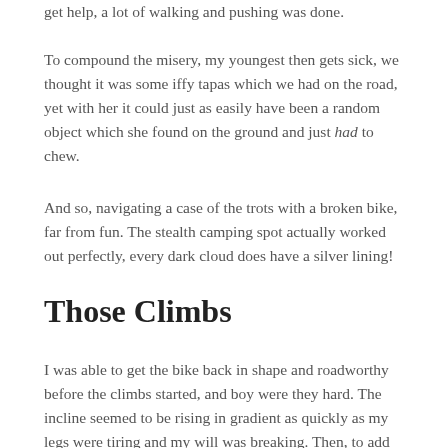get help, a lot of walking and pushing was done.
To compound the misery, my youngest then gets sick, we thought it was some iffy tapas which we had on the road, yet with her it could just as easily have been a random object which she found on the ground and just had to chew.
And so, navigating a case of the trots with a broken bike, far from fun. The stealth camping spot actually worked out perfectly, every dark cloud does have a silver lining!
Those Climbs
I was able to get the bike back in shape and roadworthy before the climbs started, and boy were they hard. The incline seemed to be rising in gradient as quickly as my legs were tiring and my will was breaking. Then, to add insult to actual injury, the sun burned the bejesus out of me. I had been so tired and so occupied with the kids and making sure that they